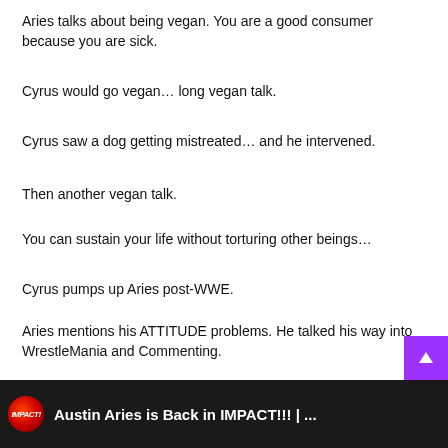Aries talks about being vegan. You are a good consumer because you are sick.
Cyrus would go vegan… long vegan talk.
Cyrus saw a dog getting mistreated… and he intervened.
Then another vegan talk.
You can sustain your life without torturing other beings…
Cyrus pumps up Aries post-WWE.
Aries mentions his ATTITUDE problems. He talked his way into WrestleMania and Commenting.
Talks about politics and legacy.
[Figure (screenshot): Video thumbnail bar showing IMPACT! logo and text 'Austin Aries is Back in IMPACT!!! | ...' on a dark background]